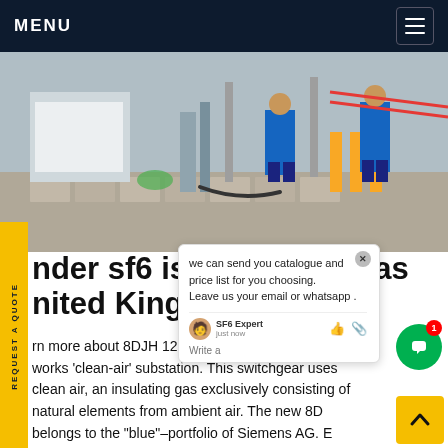MENU
[Figure (photo): Industrial substation scene with workers in blue overalls standing near gas equipment and yellow safety barriers]
REQUEST A QUOTE
we can send you catalogue and price list for you choosing. Leave us your email or whatsapp .
SF6 Expert   just now
Write a
der sf6 is which gas ... nited Kingdom
rn more about 8DJH 12 - Part of SP Energy works 'clean-air' substation. This switchgear uses clean air, an insulating gas exclusively consisting of natural elements from ambient air. The new 8D belongs to the "blue"-portfolio of Siemens AG. E GIS of this portfolio is equipped with Clean Air and